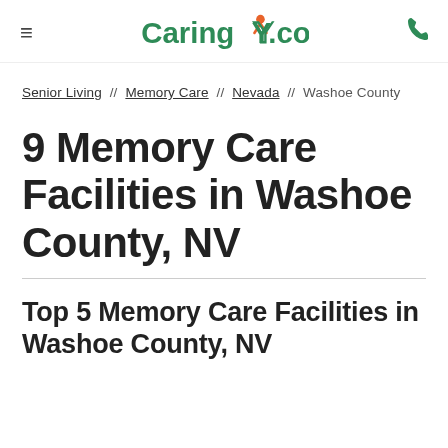≡  Caring.com  📞
Senior Living // Memory Care // Nevada // Washoe County
9 Memory Care Facilities in Washoe County, NV
Top 5 Memory Care Facilities in Washoe County, NV